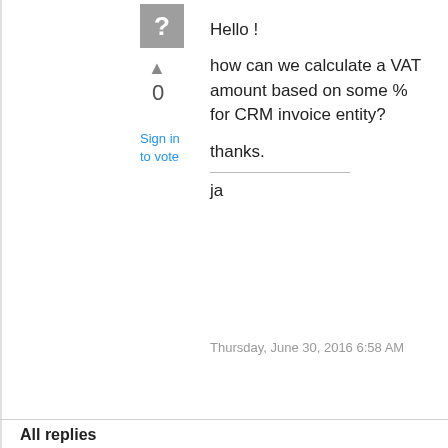[Figure (illustration): Gray square user avatar icon with white question mark]
▲
0
Sign in
to vote
Hello  !
how can we calculate a VAT amount based on some % for CRM invoice entity?
thanks.
ja
Thursday, June 30, 2016 6:58 AM
All replies